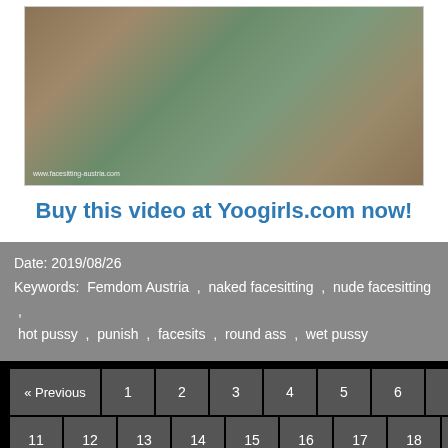[Figure (photo): Outdoor facesitting photo with watermark www.facesitting-austria.com]
Buy this video at Yoogirls.com now!
Date: 2019/08/26
Keywords: Femdom Austria , naked facesitting , nude facesitting , hot pussy , punish , facesits , round ass , wet pussy
« Previous 1 2 3 4 5 6 7 8 9 10 11 12 13 14 15 16 17 18 19 20 21 22 23 24 25 Next »
Sweaty facesitting after a long workout
Goddess Tatjana